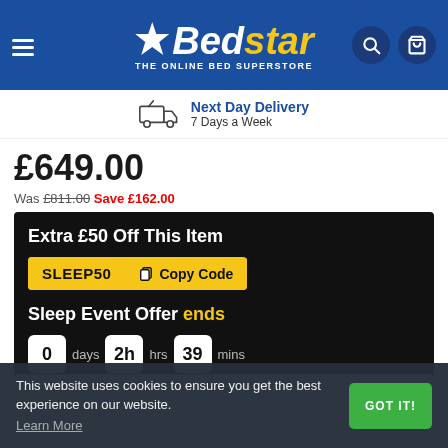[Figure (logo): Bedstar logo — white star icon and white italic 'Bed' with yellow italic 'star', subtitle 'THE ONLINE BED SUPERSTORE', on dark blue background header with hamburger menu, search and cart icons]
Next Day Delivery 7 Days a Week
£649.00
Was £811.00 Save £162.00
Extra £50 Off This Item
SLEEP50 Copy Code
Sleep Event Offer ends
0 days 2h hrs 39 mins
This website uses cookies to ensure you get the best experience on our website. Learn More